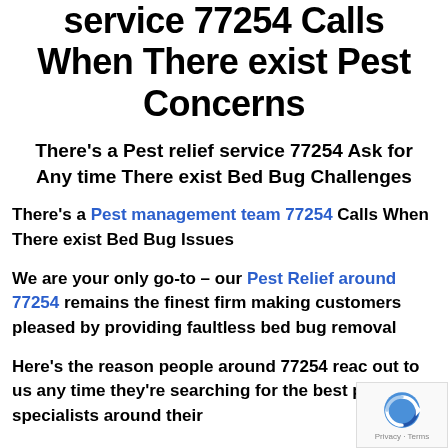service 77254 Calls When There exist Pest Concerns
There's a Pest relief service 77254 Ask for Any time There exist Bed Bug Challenges
There's a Pest management team 77254 Calls When There exist Bed Bug Issues
We are your only go-to – our Pest Relief around 77254 remains the finest firm making customers pleased by providing faultless bed bug removal
Here's the reason people around 77254 reach out to us any time they're searching for the best pest relief specialists around their